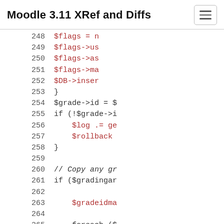Moodle 3.11 XRef and Diffs
248   $flags = n
249   $flags->us
250   $flags->as
251   $flags->ma
252   $DB->inser
253   }
254   $grade->id = $
255   if (!$grade->i
256       $log .= ge
257       $rollback
258   }
259   
260   // Copy any gr
261   if ($gradingar
262   
263       $gradeidma
264   
265       foreach ($
266           $param